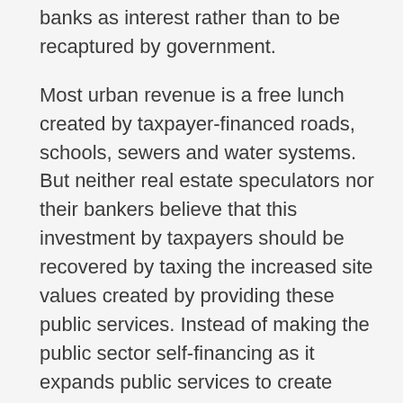banks as interest rather than to be recaptured by government.
Most urban revenue is a free lunch created by taxpayer-financed roads, schools, sewers and water systems. But neither real estate speculators nor their bankers believe that this investment by taxpayers should be recovered by taxing the increased site values created by providing these public services. Instead of making the public sector self-financing as it expands public services to create wealth, private owners are to get the benefit – while banks capitalize the gains into larger mortgage loans, which now account for 80% of bank credit.
The core of the bankers' “false consciousness” – the cover story with which Tea Party lobbyists are seeking to indoctrinate U.S. voters – is that taxes on land and financial assets punish the “job creators.” Going on the